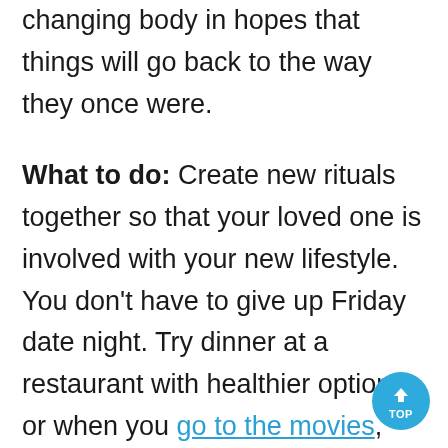changing body in hopes that things will go back to the way they once were.
What to do: Create new rituals together so that your loved one is involved with your new lifestyle. You don't have to give up Friday date night. Try dinner at a restaurant with healthier options, or when you go to the movies, order a smaller size of popcorn (no butter) and a diet soda. See if he or she will walk around the block with you (take the kids if you have them) to catch up after dinner. Be sure to include your partner in as many ways